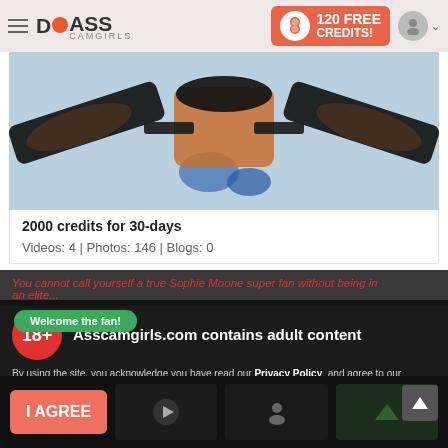ASS CAMGIRLS — 120 FREE CREDITS!
[Figure (photo): A woman in lingerie lying on a bed, wearing black stockings, viewed from above.]
2000 credits for 30-days
Videos: 4 | Photos: 146 | Blogs: 0
You cannot call yourself a true Sophie Moone super fan without being in an elite...
18+ Asscamgirls.com contains adult content
By using the site, you acknowledge you have read our Privacy Policy, and agree to our Terms and Conditions.
We use cookies to optimize your experience, analyze traffic, and deliver more personalized service. To learn more, please see our Privacy Policy.
I AGREE